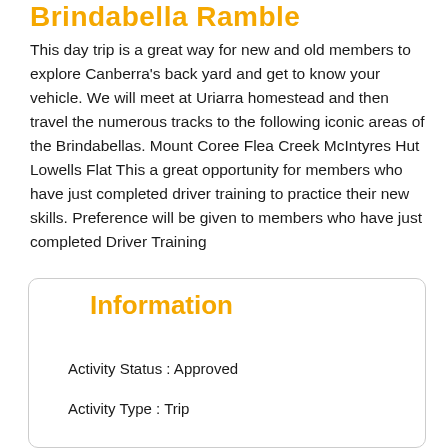Brindabella Ramble
This day trip is a great way for new and old members to explore Canberra's back yard and get to know your vehicle. We will meet at Uriarra homestead and then travel the numerous tracks to the following iconic areas of the Brindabellas. Mount Coree Flea Creek McIntyres Hut Lowells Flat This a great opportunity for members who have just completed driver training to practice their new skills. Preference will be given to members who have just completed Driver Training
Information
Activity Status : Approved
Activity Type : Trip